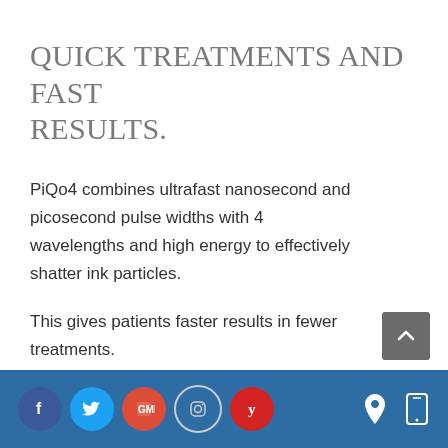QUICK TREATMENTS AND FAST RESULTS.
PiQo4 combines ultrafast nanosecond and picosecond pulse widths with 4 wavelengths and high energy to effectively shatter ink particles.
This gives patients faster results in fewer treatments.
Social media icons: Facebook, Twitter, Google My Business, Instagram, Yelp; Location and mobile icons on right